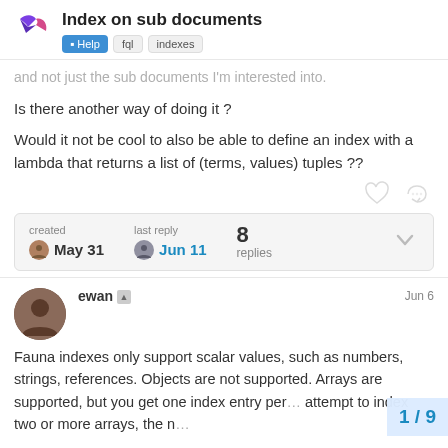Index on sub documents — Help fql indexes
and not just the sub documents I'm interested into.
Is there another way of doing it ?
Would it not be cool to also be able to define an index with a lambda that returns a list of (terms, values) tuples ??
| created | last reply | replies |
| --- | --- | --- |
| May 31 | Jun 11 | 8 |
ewan — Jun 6
Fauna indexes only support scalar values, such as numbers, strings, references. Objects are not supported. Arrays are supported, but you get one index entry per... attempt to index two or more arrays, the n...